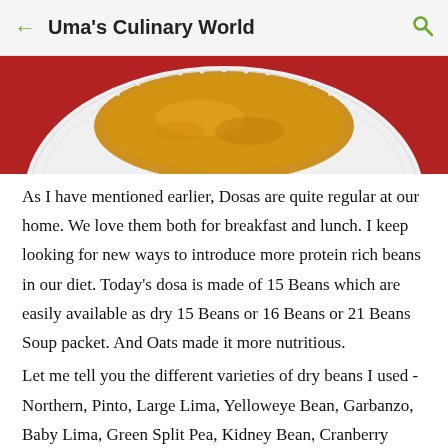← Uma's Culinary World 🔍
[Figure (photo): Close-up photo of a dosa (Indian crepe) on a white decorative plate with a red tablecloth background, partially cropped.]
As I have mentioned earlier, Dosas are quite regular at our home. We love them both for breakfast and lunch. I keep looking for new ways to introduce more protein rich beans in our diet. Today's dosa is made of 15 Beans which are easily available as dry 15 Beans or 16 Beans or 21 Beans Soup packet. And Oats made it more nutritious.
Let me tell you the different varieties of dry beans I used - Northern, Pinto, Large Lima, Yelloweye Bean, Garbanzo, Baby Lima, Green Split Pea, Kidney Bean, Cranberry Bean, Small White, Pink Bean, Small Red, Yellow Split Pea, Lentil,